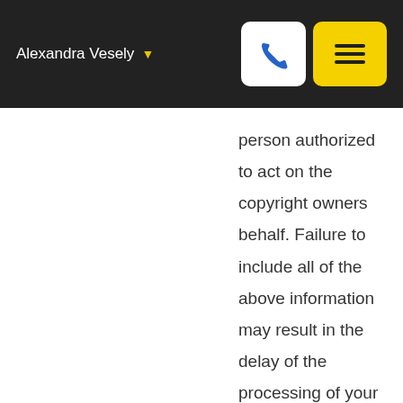Alexandra Vesely
person authorized to act on the copyright owners behalf. Failure to include all of the above information may result in the delay of the processing of your complaint.
Copyright © 2022 Midwest Real Estate Data LLC. Data is updated as of August 29, 2022 3:08 PM UTC